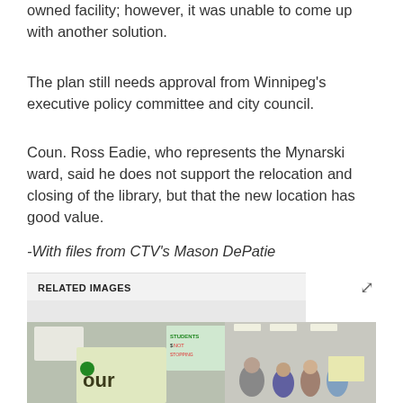owned facility; however, it was unable to come up with another solution.
The plan still needs approval from Winnipeg's executive policy committee and city council.
Coun. Ross Eadie, who represents the Mynarski ward, said he does not support the relocation and closing of the library, but that the new location has good value.
-With files from CTV's Mason DePatie
RELATED IMAGES
[Figure (photo): Protesters holding signs including one reading 'STUDENTS $ NOT STOPPING' and another partially visible sign reading 'our [library]'. People gathered in what appears to be a public space or building lobby.]